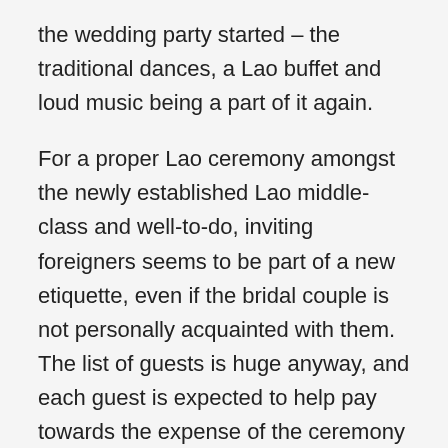the wedding party started – the traditional dances, a Lao buffet and loud music being a part of it again.
For a proper Lao ceremony amongst the newly established Lao middle-class and well-to-do, inviting foreigners seems to be part of a new etiquette, even if the bridal couple is not personally acquainted with them. The list of guests is huge anyway, and each guest is expected to help pay towards the expense of the ceremony by handing over a pre-prepared envelope with money inside. Traditional Lao weddings held in this way are very expensive, and from a Western perspective one would not be able to guess how a couple normally lives in their quotidian life just by how they celebrated their wedding ceremony.
Another observation from a Western perspective: